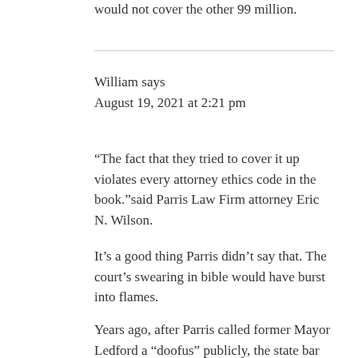would not cover the other 99 million.
William says
August 19, 2021 at 2:21 pm
“The fact that they tried to cover it up violates every attorney ethics code in the book.”said Parris Law Firm attorney Eric N. Wilson.
It’s a good thing Parris didn’t say that. The court’s swearing in bible would have burst into flames.
Years ago, after Parris called former Mayor Ledford a “doofus” publicly, the state bar